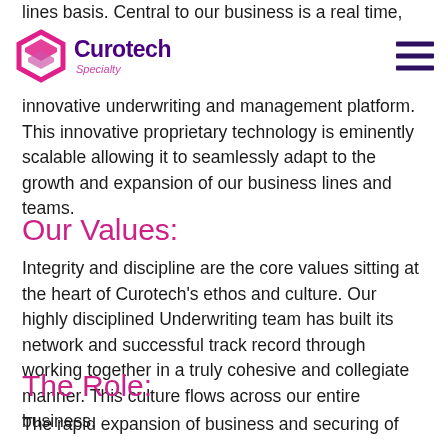lines basis. Central to our business is a real time, innovative underwriting and management platform. This innovative proprietary technology is eminently scalable allowing it to seamlessly adapt to the growth and expansion of our business lines and teams.
Curotech Specialty
Our Values:
Integrity and discipline are the core values sitting at the heart of Curotech's ethos and culture. Our highly disciplined Underwriting team has built its network and successful track record through working together in a truly cohesive and collegiate manner. This culture flows across our entire business.
The Role:
The rapid expansion of business and securing of